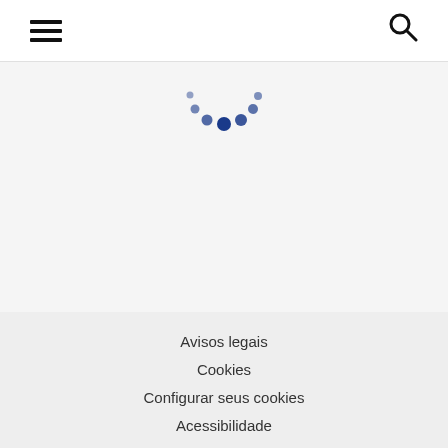[hamburger menu] [search icon]
[Figure (illustration): Loading spinner with dark blue dots arranged in a circular arc pattern, partially visible at top of content area]
Avisos legais
Cookies
Configurar seus cookies
Acessibilidade
Mapa do site
Subir ^